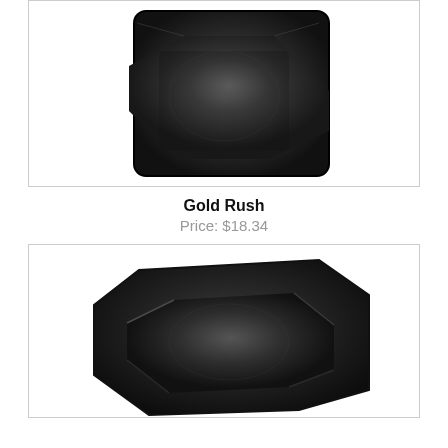[Figure (photo): Close-up photo of a black square rubber or plastic cap/plug with beveled raised center surface, viewed from slightly above]
Gold Rush
Price: $18.34
[Figure (photo): Photo of a black rectangular rubber or plastic tray/cap with recessed center, viewed from a slight angle showing depth]